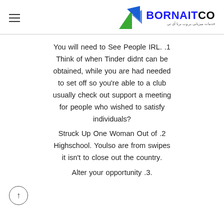BORNAITCO — خدمات میزبانی بر وب برنا آی تی
You will need to See People IRL. .1 Think of when Tinder didnt can be obtained, while you are had needed to set off so you're able to a club usually check out support a meeting for people who wished to satisfy ?individuals
Struck Up One Woman Out of .2 Highschool. Youlso are from swipes it isn't to close out the country.
.Alter your opportunity .3